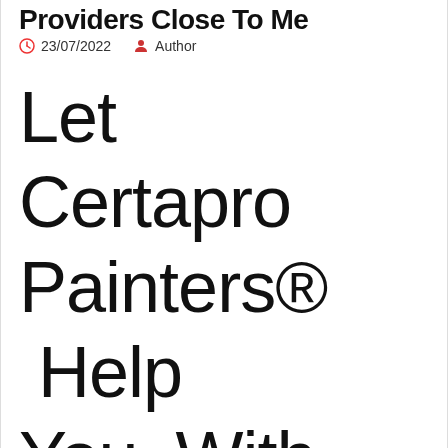Providers Close To Me
23/07/2022  Author
Let Certapro Painters® Help You With Your Home Stucco Restore And Portray